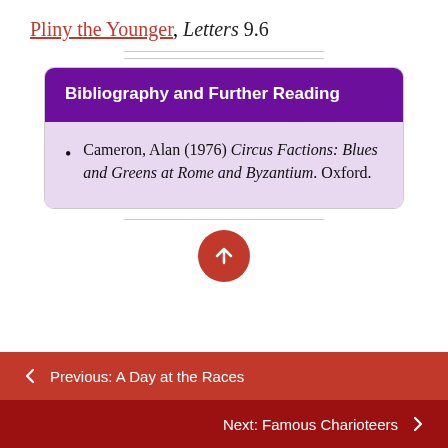Pliny the Younger, Letters 9.6
Bibliography and Further Reading
Cameron, Alan (1976) Circus Factions: Blues and Greens at Rome and Byzantium. Oxford.
← Previous: A Day at the Races
Next: Famous Charioteers →